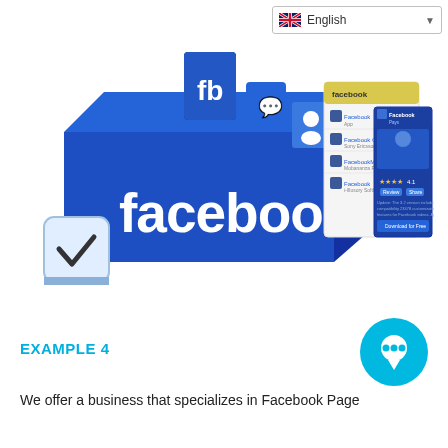[Figure (screenshot): Language selector dropdown showing English with UK flag]
[Figure (illustration): 3D blue Facebook logo box with app icons and mobile screens showing Facebook search results and app store page]
EXAMPLE 4
[Figure (illustration): Cyan/teal circular chat bubble icon]
We offer a business that specializes in Facebook Page